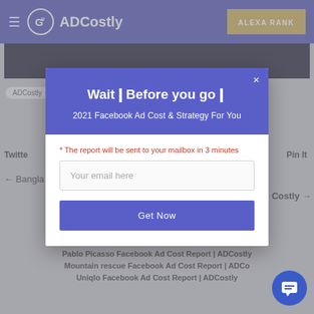ADCostly | ALEXA RANK
[Figure (screenshot): ADCostly website background with breadcrumb, Twitter/Pin It buttons, navigation arrows, Related articles section, and article links]
Wait⁠Before you go⁠
2021 Facebook Ad Cost & Strategy For You
* The report will be sent to your mailbox in 3 minutes
Your email here
Get Now
Pablo Picasso Facebook Ad Cost Report | ADCostly
Mountain rescue Facebook Ad Cost Report | ADCo…
Uniqlo Facebook Ad Cost Report | ADCostly